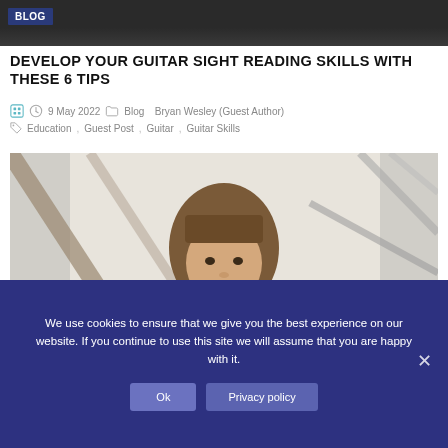BLOG
DEVELOP YOUR GUITAR SIGHT READING SKILLS WITH THESE 6 TIPS
9 May 2022  Blog  Bryan Wesley (Guest Author)  Education , Guest Post , Guitar , Guitar Skills
[Figure (photo): Young woman with long brown hair and bangs peering through a wooden structure, metal rails in background, outdoors]
We use cookies to ensure that we give you the best experience on our website. If you continue to use this site we will assume that you are happy with it.